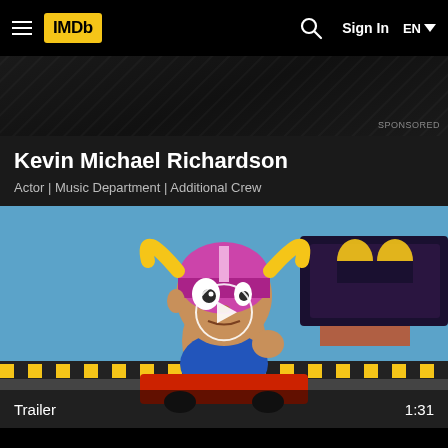IMDb  Sign In  EN
Kevin Michael Richardson
Actor | Music Department | Additional Crew
[Figure (screenshot): Animated movie trailer thumbnail showing a cartoon character with a pink helmet and bull horns riding a go-kart, in front of a hamburger restaurant neon sign. A white play button circle is overlaid in the center. Bottom bar shows 'Trailer' on left and '1:31' on right.]